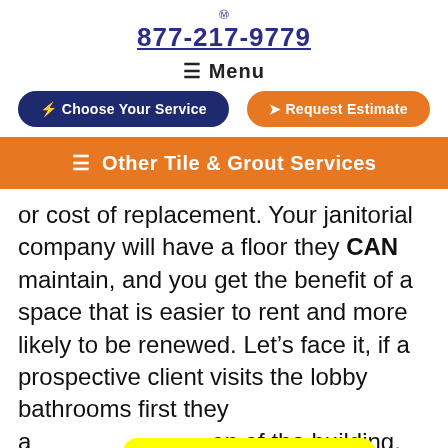877-217-9779
≡ Menu
⚡ Choose Your Service   ✈ Request Estimate
≡ Other Tile & Grout Services
or cost of replacement. Your janitorial company will have a floor they CAN maintain, and you get the benefit of a space that is easier to rent and more likely to be renewed. Let's face it, if a prospective client visits the lobby bathrooms first they a[...] on of the building, it[...] Marblelife[...] pression floor that wins tenants and is easy to maintain
[Figure (infographic): Yellow popup box with bold text: FLOOR CLEANER FRUSTRATION? PERHAPS IT'S DAMAGED, NOT DIRTY SEE IMAGES HERE]